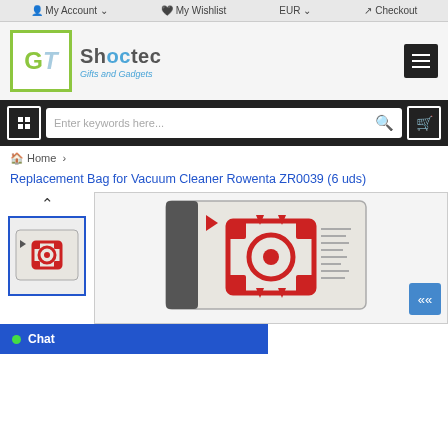My Account  My Wishlist  EUR  Checkout
[Figure (logo): Shoctec Gifts and Gadgets logo with green-bordered ST monogram]
Enter keywords here...
Home >
Replacement Bag for Vacuum Cleaner Rowenta ZR0039 (6 uds)
[Figure (photo): Thumbnail image of vacuum cleaner replacement bag (Rowenta ZR0039) with red connector ring]
[Figure (photo): Main product image of vacuum cleaner replacement bag (Rowenta ZR0039) with red connector ring and arrows]
Chat